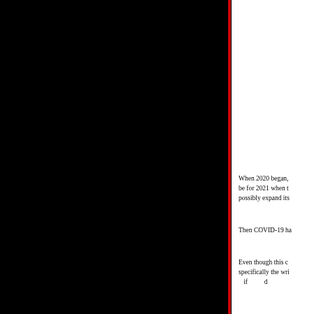[Figure (photo): Large black rectangle occupying the left approximately two-thirds of the page, with a red vertical line on its right edge.]
When 2020 began, the hope would be for 2021 when t... possibly expand its...
Then COVID-19 ha...
Even though this c... specifically the wri... if...